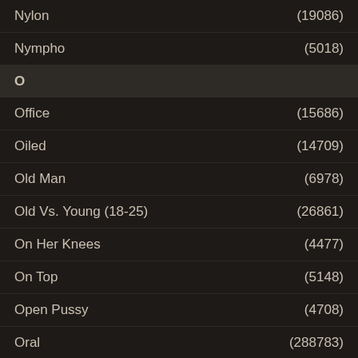Nylon (19086)
Nympho (5018)
O
Office (15686)
Oiled (14709)
Old Man (6978)
Old Vs. Young (18-25) (26861)
On Her Knees (4477)
On Top (5148)
Open Pussy (4708)
Oral (288783)
Orgasm (48731)